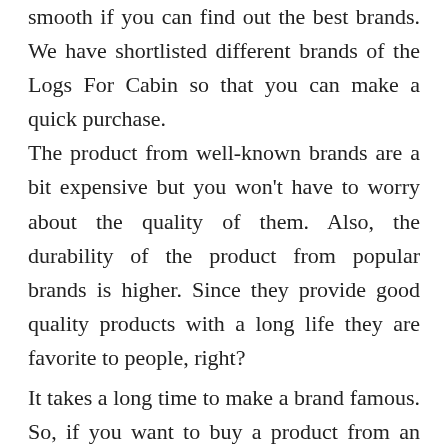smooth if you can find out the best brands. We have shortlisted different brands of the Logs For Cabin so that you can make a quick purchase. The product from well-known brands are a bit expensive but you won't have to worry about the quality of them. Also, the durability of the product from popular brands is higher. Since they provide good quality products with a long life they are favorite to people, right?

It takes a long time to make a brand famous. So, if you want to buy a product from an age-old brand you cannot compromise with your budget.

On the other hand, some new brands are struggling to make goodwill. Their product is also good. Since they are not so famous yet you can get a good quality product from them at a